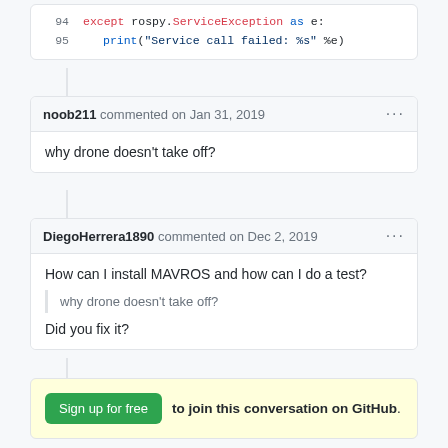[Figure (screenshot): Code snippet lines 94-95 showing Python exception handling with rospy.ServiceException]
noob211 commented on Jan 31, 2019
why drone doesn't take off?
DiegoHerrera1890 commented on Dec 2, 2019
How can I install MAVROS and how can I do a test?
> why drone doesn't take off?
Did you fix it?
Sign up for free to join this conversation on GitHub.